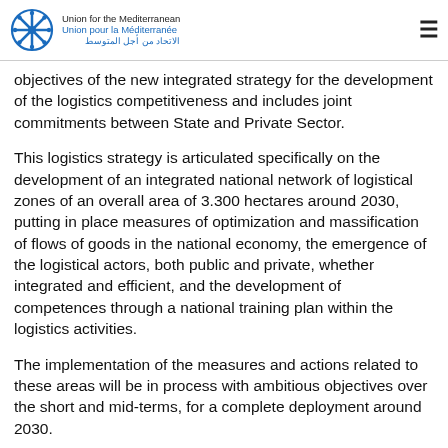Union for the Mediterranean / Union pour la Méditerranée / الاتحاد من أجل المتوسط
objectives of the new integrated strategy for the development of the logistics competitiveness and includes joint commitments between State and Private Sector.
This logistics strategy is articulated specifically on the development of an integrated national network of logistical zones of an overall area of 3.300 hectares around 2030, putting in place measures of optimization and massification of flows of goods in the national economy, the emergence of the logistical actors, both public and private, whether integrated and efficient, and the development of competences through a national training plan within the logistics activities.
The implementation of the measures and actions related to these areas will be in process with ambitious objectives over the short and mid-terms, for a complete deployment around 2030.